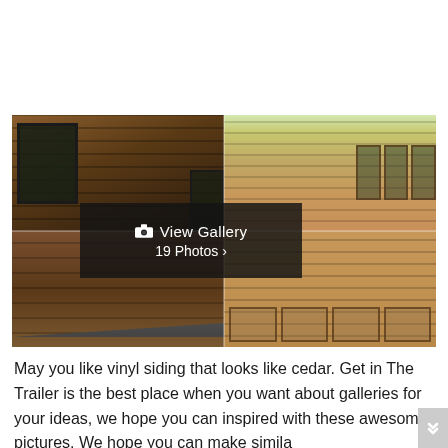[Figure (photo): Collage of four photos showing cedar wood siding on houses. Top-left shows dark cedar log siding with black-framed windows. Top-right shows lighter horizontal cedar shake siding with wood-framed windows and trees. Bottom-left shows a roofline with cedar siding. Bottom-right shows lighter horizontal cedar siding with windows below. A dark semi-transparent overlay in the center reads 'View Gallery 19 Photos >'.]
May you like vinyl siding that looks like cedar. Get in The Trailer is the best place when you want about galleries for your ideas, we hope you can inspired with these awesome pictures. We hope you can make simila